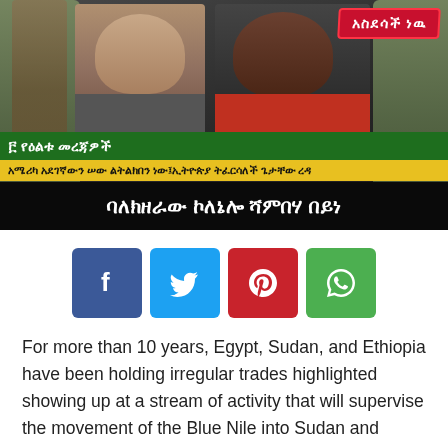[Figure (photo): Thumbnail image with two men's faces, soldiers in camouflage on sides, Amharic text banners: green bar with '3 የዕልቱ መረጃዎች', yellow bar with 'አሜሪካ አደገኛውን ሠው ልትልክበን ነው፤ኢትዮጵያ ትፈርሳለች ጌታቸው ረዳ', black bar with 'ባለክዘራው ኮለኔል ሻምበሃ በይነ', and red badge 'አስደሳች ነዉ']
[Figure (infographic): Row of four social share buttons: Facebook (blue), Twitter (light blue), Pinterest (red), WhatsApp (green)]
For more than 10 years, Egypt, Sudan, and Ethiopia have been holding irregular trades highlighted showing up at a stream of activity that will supervise the movement of the Blue Nile into Sudan and Egypt in the wake of the orchestrated 2022 presentation of the mammoth Grand Ethiopian Renaissance Dam (HERD). Once complete, HERD will be the